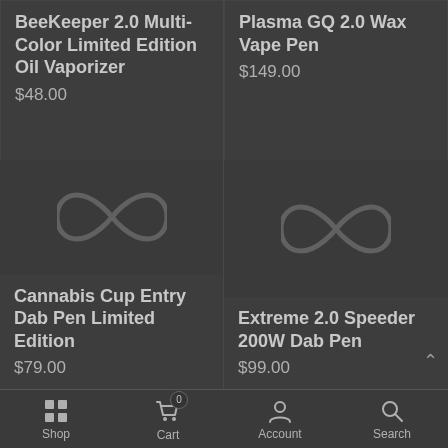BeeKeeper 2.0 Multi-Color Limited Edition Oil Vaporizer
$48.00
Plasma GQ 2.0 Wax Vape Pen
$149.00
[Figure (photo): Product image placeholder for Cannabis Cup Entry Dab Pen Limited Edition]
[Figure (photo): Product image placeholder for Extreme 2.0 Speeder 200W Dab Pen]
Cannabis Cup Entry Dab Pen Limited Edition
$79.00
Extreme 2.0 Speeder 200W Dab Pen
$99.00
Shop  Cart 0  Account  Search